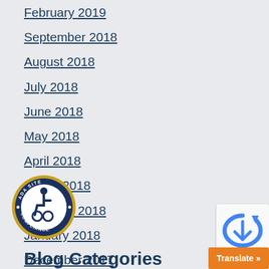February 2019
September 2018
August 2018
July 2018
June 2018
May 2018
April 2018
March 2018
February 2018
January 2018
December 2017
November 2017
[Figure (logo): ADA Site Compliance badge with wheelchair accessibility symbol]
[Figure (logo): reCAPTCHA widget]
Translate »
Blog Categories